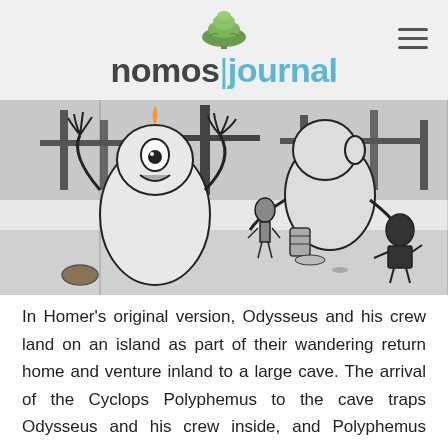nomos|journal
[Figure (illustration): Black and white comic/graphic novel illustration showing large cyclops-like figures with raised hands and a smaller human figure in a landscape scene]
In Homer's original version, Odysseus and his crew land on an island as part of their wandering return home and venture inland to a large cave. The arrival of the Cyclops Polyphemus to the cave traps Odysseus and his crew inside, and Polyphemus wastes no time in casting aside the classic Greek notion of hospitality by eating several sailors. Eventually, Odysseus convinces the Cyclops to drink himself into a stupor, at which